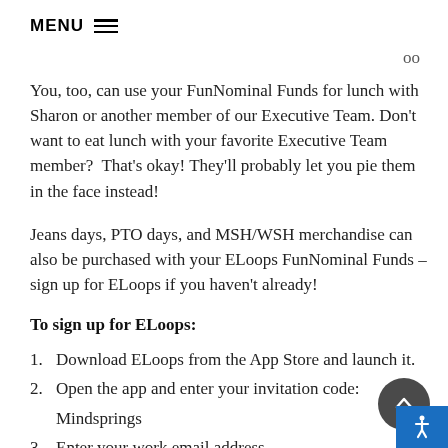MENU ≡
oo
You, too, can use your FunNominal Funds for lunch with Sharon or another member of our Executive Team. Don't want to eat lunch with your favorite Executive Team member?  That's okay! They'll probably let you pie them in the face instead!
Jeans days, PTO days, and MSH/WSH merchandise can also be purchased with your ELoops FunNominal Funds – sign up for ELoops if you haven't already!
To sign up for ELoops:
1. Download ELoops from the App Store and launch it.
2. Open the app and enter your invitation code:
   Mindsprings
3. Enter your work email address.